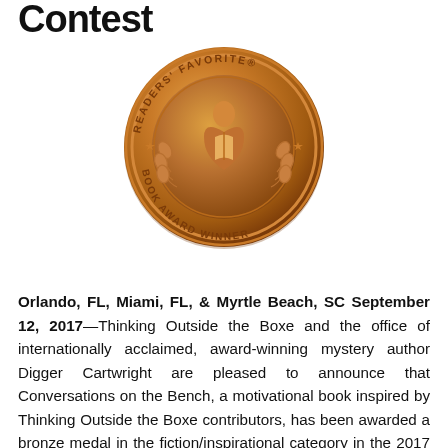Contest
[Figure (illustration): Readers' Favorite Book Award Winner bronze medal seal — circular bronze medallion with a figure holding an open book, laurel branches, stars, and the text READERS' FAVORITE around the top and BOOK AWARD WINNER around the bottom.]
Orlando, FL, Miami, FL, & Myrtle Beach, SC September 12, 2017—Thinking Outside the Boxe and the office of internationally acclaimed, award-winning mystery author Digger Cartwright are pleased to announce that Conversations on the Bench, a motivational book inspired by Thinking Outside the Boxe contributors, has been awarded a bronze medal in the fiction/inspirational category in the 2017 Readers' Favorite International Book Awards Contest. This is the third medal for Conversations